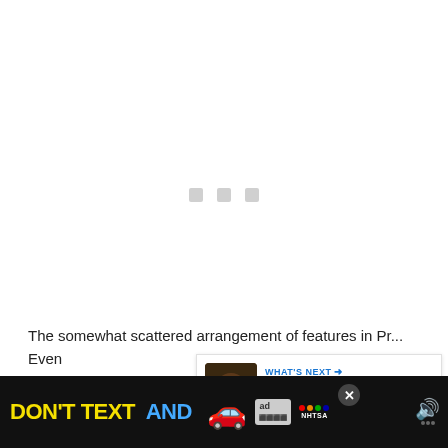[Figure (screenshot): White content area with three loading indicator dots (grey squares) in the center]
[Figure (infographic): Blue circular like/heart button with count of 1 and share button below]
[Figure (infographic): WHAT'S NEXT panel with thumbnail and text '4 Reasons Why Premie...']
The somewhat scattered arrangement of features in Pr... Even
[Figure (infographic): DON'T TEXT AND [car emoji] NHTSA advertisement banner in black with yellow, white and cyan text]